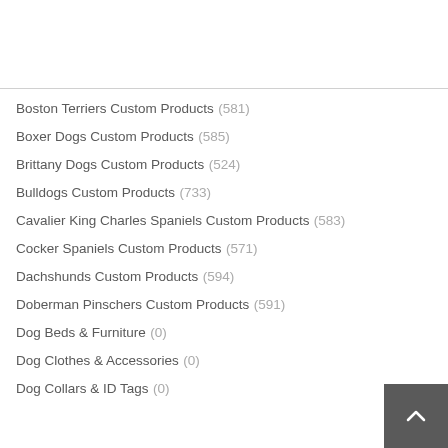Boston Terriers Custom Products (581)
Boxer Dogs Custom Products (585)
Brittany Dogs Custom Products (524)
Bulldogs Custom Products (733)
Cavalier King Charles Spaniels Custom Products (583)
Cocker Spaniels Custom Products (571)
Dachshunds Custom Products (594)
Doberman Pinschers Custom Products (591)
Dog Beds & Furniture (0)
Dog Clothes & Accessories (0)
Dog Collars & ID Tags (0)